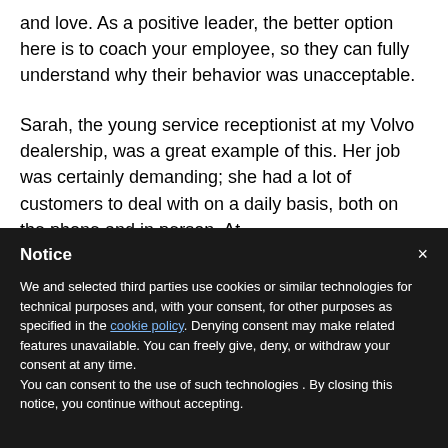and love. As a positive leader, the better option here is to coach your employee, so they can fully understand why their behavior was unacceptable.
Sarah, the young service receptionist at my Volvo dealership, was a great example of this. Her job was certainly demanding; she had a lot of customers to deal with on a daily basis, both on the phone and in person. At
Notice
We and selected third parties use cookies or similar technologies for technical purposes and, with your consent, for other purposes as specified in the cookie policy. Denying consent may make related features unavailable. You can freely give, deny, or withdraw your consent at any time.
You can consent to the use of such technologies . By closing this notice, you continue without accepting.